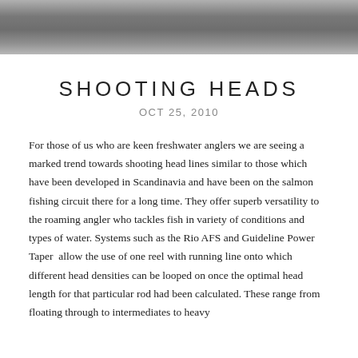[Figure (photo): Black and white photograph of a person, cropped at top, shown from waist/torso area]
SHOOTING HEADS
OCT 25, 2010
For those of us who are keen freshwater anglers we are seeing a marked trend towards shooting head lines similar to those which have been developed in Scandinavia and have been on the salmon fishing circuit there for a long time. They offer superb versatility to the roaming angler who tackles fish in variety of conditions and types of water. Systems such as the Rio AFS and Guideline Power Taper  allow the use of one reel with running line onto which different head densities can be looped on once the optimal head length for that particular rod had been calculated. These range from floating through to intermediates to heavy